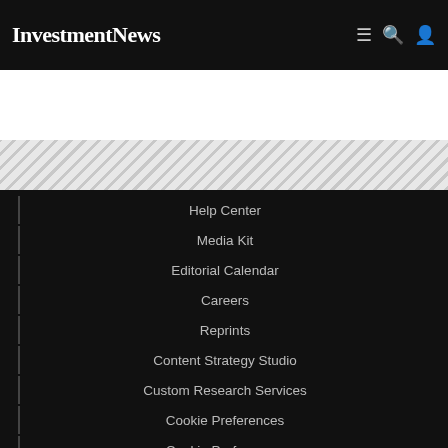InvestmentNews
[Figure (other): Diagonal striped decorative band]
Help Center
Media Kit
Editorial Calendar
Careers
Reprints
Content Strategy Studio
Custom Research Services
Cookie Preferences
Cookie Preferences